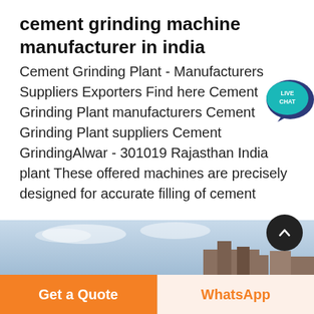cement grinding machine manufacturer in india
Cement Grinding Plant - Manufacturers Suppliers Exporters Find here Cement Grinding Plant manufacturers Cement Grinding Plant suppliers Cement GrindingAlwar - 301019 Rajasthan India plant These offered machines are precisely designed for accurate filling of cement
[Figure (infographic): Live chat speech bubble icon in teal/purple with 'LIVE CHAT' text]
[Figure (other): Orange rounded rectangle button with text 'Get price' in white]
[Figure (photo): Partial photo showing sky/clouds and industrial building at bottom of page]
[Figure (other): Black circular scroll-to-top button with upward chevron arrow]
Get a Quote
WhatsApp